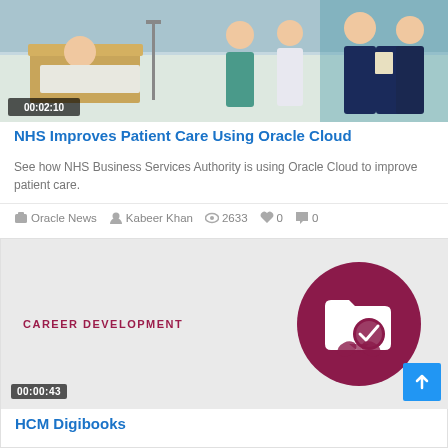[Figure (photo): Hospital ward scene with a patient in bed and medical staff in scrubs and suits]
NHS Improves Patient Care Using Oracle Cloud
See how NHS Business Services Authority is using Oracle Cloud to improve patient care.
Oracle News  Kabeer Khan  2633  0  0
[Figure (illustration): Career Development thumbnail with dark red circle containing a folder and checkmark icon, and CAREER DEVELOPMENT text]
HCM Digibooks